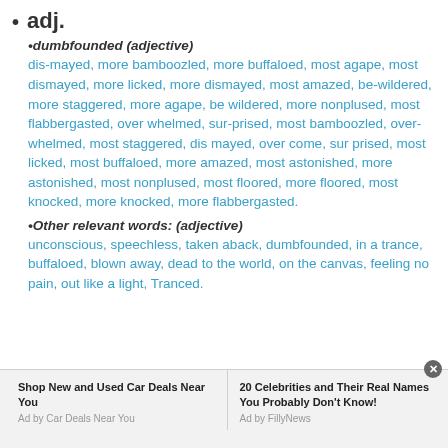adj.
•dumbfounded (adjective)
dis-mayed, more bamboozled, more buffaloed, most agape, most dismayed, more licked, more dismayed, most amazed, be-wildered, more staggered, more agape, be wildered, more nonplused, most flabbergasted, over whelmed, sur-prised, most bamboozled, over-whelmed, most staggered, dis mayed, over come, sur prised, most licked, most buffaloed, more amazed, most astonished, more astonished, most nonplused, most floored, more floored, most knocked, more knocked, more flabbergasted.
•Other relevant words: (adjective)
unconscious, speechless, taken aback, dumbfounded, in a trance, buffaloed, blown away, dead to the world, on the canvas, feeling no pain, out like a light, Tranced.
Shop New and Used Car Deals Near You | Ad by Car Deals Near You | 20 Celebrities and Their Real Names You Probably Don't Know! | Ad by FillyNews